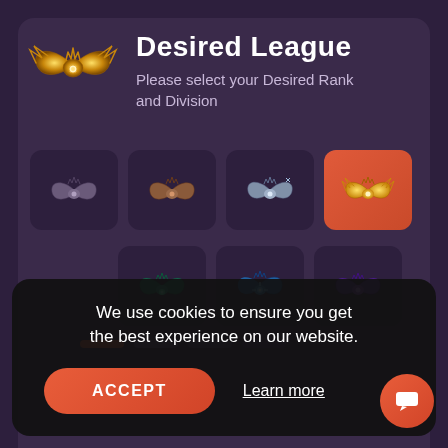Desired League
Please select your Desired Rank and Division
[Figure (screenshot): 7 rank badge icons in a grid: 4 on top row (iron/bronze/silver/gold badges), 3 on bottom row (emerald/diamond/master badges). The gold badge on the top right is highlighted with an orange-red background.]
We use cookies to ensure you get the best experience on our website.
ACCEPT
Learn more